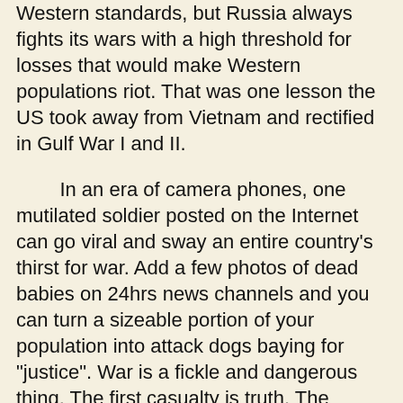Western standards, but Russia always fights its wars with a high threshold for losses that would make Western populations riot. That was one lesson the US took away from Vietnam and rectified in Gulf War I and II.
In an era of camera phones, one mutilated soldier posted on the Internet can go viral and sway an entire country's thirst for war. Add a few photos of dead babies on 24hrs news channels and you can turn a sizeable portion of your population into attack dogs baying for "justice". War is a fickle and dangerous thing. The first casualty is truth. The second casualty is reason.
Remember the picture on the below left? That boy is Omran Daqneesh, who appeared on the front page of every Western newspaper in 2016 supposedly pulled from the rubble of a Russian air strike in Syria. It allowed NATO to launch 200 cruise missiles at Syria and Assad. Turns out, the entire thing was...